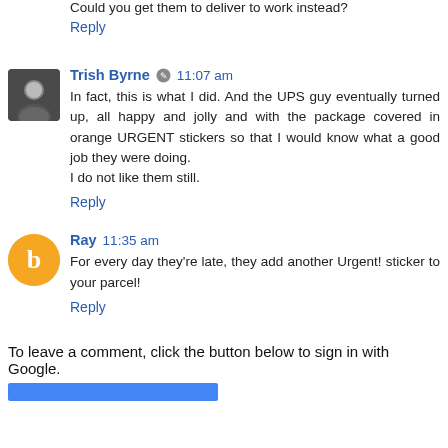Could you get them to deliver to work instead?
Reply
Trish Byrne  11:07 am
In fact, this is what I did. And the UPS guy eventually turned up, all happy and jolly and with the package covered in orange URGENT stickers so that I would know what a good job they were doing.
I do not like them still.
Reply
Ray  11:35 am
For every day they're late, they add another Urgent! sticker to your parcel!
Reply
To leave a comment, click the button below to sign in with Google.